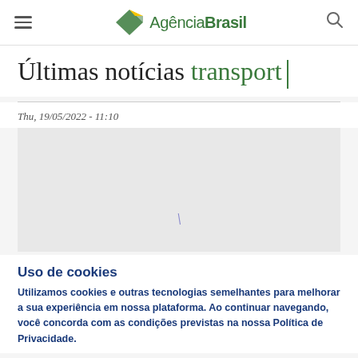AgênciaBrasil
Últimas notícias transport
Thu, 19/05/2022 - 11:10
[Figure (photo): Loading image placeholder with a single character/spinner visible]
Uso de cookies
Utilizamos cookies e outras tecnologias semelhantes para melhorar a sua experiência em nossa plataforma. Ao continuar navegando, você concorda com as condições previstas na nossa Política de Privacidade.